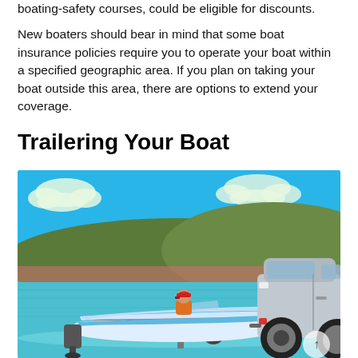boating-safety courses, could be eligible for discounts.
New boaters should bear in mind that some boat insurance policies require you to operate your boat within a specified geographic area. If you plan on taking your boat outside this area, there are options to extend your coverage.
Trailering Your Boat
[Figure (illustration): Illustration of a person in an orange jacket and red cap sitting in a white and blue speedboat being trailered into water by a silver SUV. Background shows blue sky with clouds, green hills, and a lake or ocean scene.]